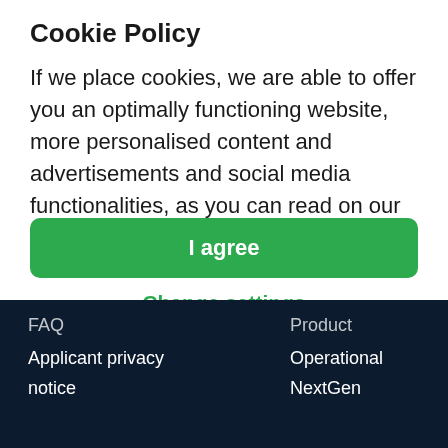Cookie Policy
If we place cookies, we are able to offer you an optimally functioning website, more personalised content and advertisements and social media functionalities, as you can read on our Cookie Policy.
I agree
Change settings
FAQ
Product
Applicant privacy notice
Operational
NextGen